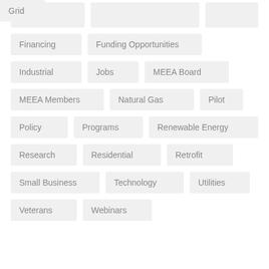Financing
Funding Opportunities
Grid
Industrial
Jobs
MEEA Board
MEEA Members
Natural Gas
Pilot
Policy
Programs
Renewable Energy
Research
Residential
Retrofit
Small Business
Technology
Utilities
Veterans
Webinars